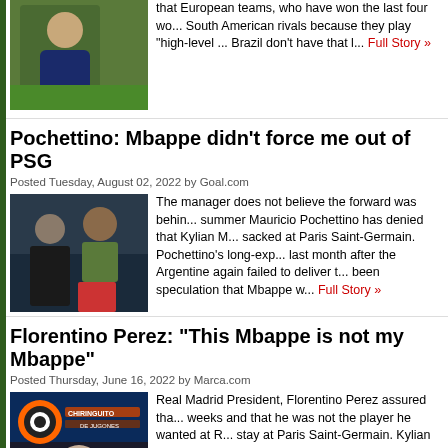that European teams, who have won the last four wo... South American rivals because they play "high-level ... Brazil don't have that l... Full Story »
Pochettino: Mbappe didn't force me out of PSG
Posted Tuesday, August 02, 2022 by Goal.com
[Figure (photo): Photo of manager and Mbappe]
The manager does not believe the forward was behin... summer Mauricio Pochettino has denied that Kylian M... sacked at Paris Saint-Germain. Pochettino's long-exp... last month after the Argentine again failed to deliver t... been speculation that Mbappe w... Full Story »
Florentino Perez: "This Mbappe is not my Mbappe"
Posted Thursday, June 16, 2022 by Marca.com
[Figure (photo): Photo of Florentino Perez on El Chiringuito de Jugones TV show]
Real Madrid President, Florentino Perez assured tha... weeks and that he was not the player he wanted at R... stay at Paris Saint-Germain. Kylian Mbappe's failed s... Madrid, we wanted to do it last August and they didn't... to play at Madrid and like 15... Full Story »
'I hope Zidane comes back!' - French President Macron after influencing Mbappe stay
Posted Thursday, June 09, 2022 by Goal.com